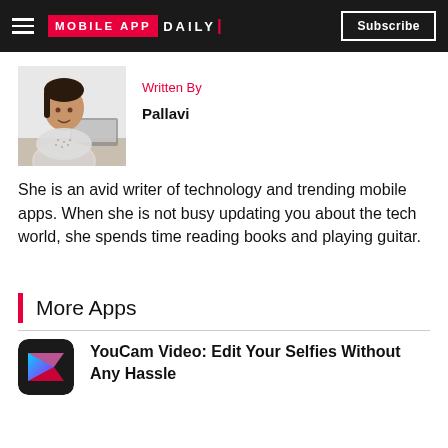MOBILE APP DAILY | Subscribe
[Figure (photo): Photo of author Pallavi sitting at a desk with a laptop]
Written By
Pallavi
She is an avid writer of technology and trending mobile apps. When she is not busy updating you about the tech world, she spends time reading books and playing guitar.
More Apps
YouCam Video: Edit Your Selfies Without Any Hassle